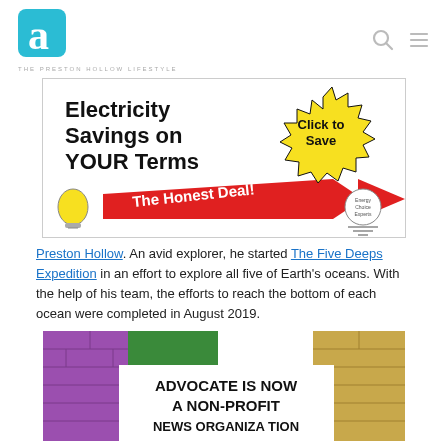THE PRESTON HOLLOW LIFESTYLE
[Figure (illustration): Advertisement banner: Electricity Savings on YOUR Terms. The Honest Deal! Click to Save. Red arrow, yellow starburst, lightbulb graphic, Energy Choice Experts logo.]
Preston Hollow. An avid explorer, he started The Five Deeps Expedition in an effort to explore all five of Earth's oceans. With the help of his team, the efforts to reach the bottom of each ocean were completed in August 2019.
[Figure (photo): Colorful painted brick wall in purple, green, and tan/yellow with a white overlay panel reading: ADVOCATE IS NOW A NON-PROFIT NEWS ORGANIZATION]